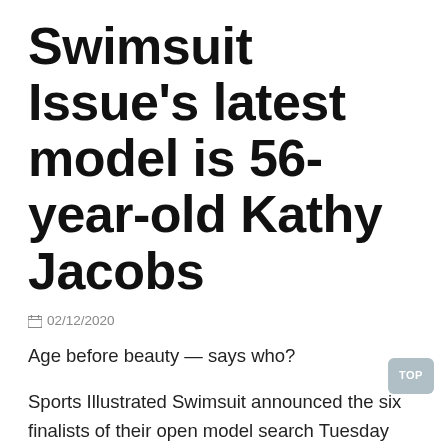Swimsuit Issue's latest model is 56-year-old Kathy Jacobs
02/12/2020
Age before beauty — says who?
Sports Illustrated Swimsuit announced the six finalists of their open model search Tuesday morning, and among the bevy of beauties is Kathy Jacobs, 56, of Calabasas, California.
“Frankly, I’m still in shock,” the 5’3” stunner said